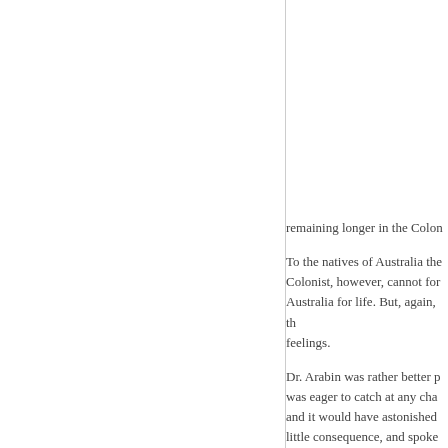remaining longer in the Colon
To the natives of Australia the Colonist, however, cannot for Australia for life. But, again, th feelings.
Dr. Arabin was rather better p was eager to catch at any cha and it would have astonished little consequence, and spoke
An extensive auctioneer and a of the enormous sacrifices wh to regard him as a bargain-ma eloquence was directed again purchases. In fact, had the au